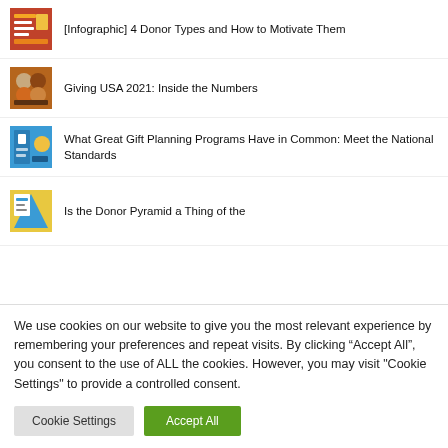[Infographic] 4 Donor Types and How to Motivate Them
Giving USA 2021: Inside the Numbers
What Great Gift Planning Programs Have in Common: Meet the National Standards
Is the Donor Pyramid a Thing of the
We use cookies on our website to give you the most relevant experience by remembering your preferences and repeat visits. By clicking “Accept All”, you consent to the use of ALL the cookies. However, you may visit "Cookie Settings" to provide a controlled consent.